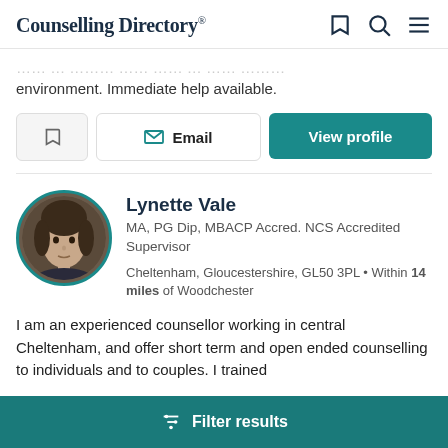Counselling Directory
environment. Immediate help available.
Email | View profile
Lynette Vale
MA, PG Dip, MBACP Accred. NCS Accredited Supervisor
Cheltenham, Gloucestershire, GL50 3PL • Within 14 miles of Woodchester
I am an experienced counsellor working in central Cheltenham, and offer short term and open ended counselling to individuals and to couples. I trained
Filter results